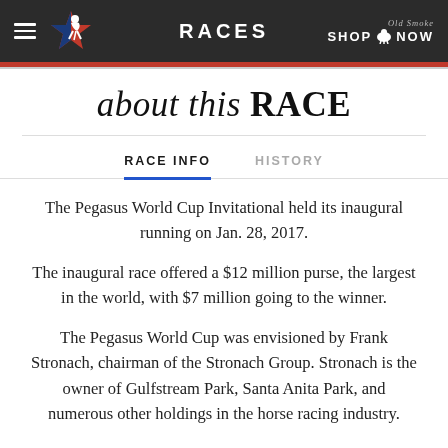RACES
about this RACE
RACE INFO  HISTORY
The Pegasus World Cup Invitational held its inaugural running on Jan. 28, 2017.
The inaugural race offered a $12 million purse, the largest in the world, with $7 million going to the winner.
The Pegasus World Cup was envisioned by Frank Stronach, chairman of the Stronach Group. Stronach is the owner of Gulfstream Park, Santa Anita Park, and numerous other holdings in the horse racing industry.